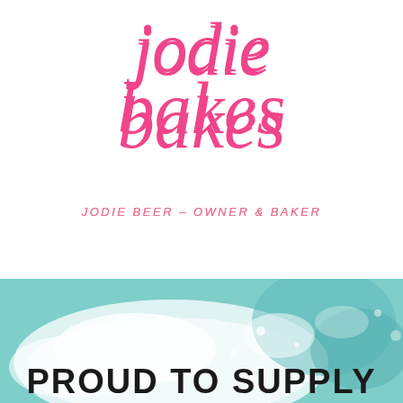jodie bakes
JODIE BEER – OWNER & BAKER
[Figure (illustration): Teal/mint watercolor wave background texture with white powder (flour) effect]
PROUD TO SUPPLY